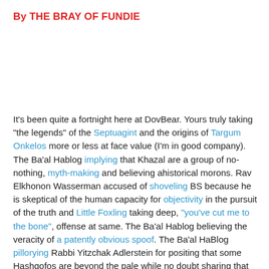By THE BRAY OF FUNDIE
It's been quite a fortnight here at DovBear. Yours truly taking "the legends" of the Septuagint and the origins of Targum Onkelos more or less at face value (I'm in good company). The Ba'al Hablog implying that Khazal are a group of no-nothing, myth-making and believing ahistorical morons. Rav Elkhonon Wasserman accused of shoveling BS because he is skeptical of the human capacity for objectivity in the pursuit of the truth and Little Foxling taking deep, "you've cut me to the bone", offense at same. The Ba'al Hablog believing the veracity of a patently obvious spoof. The Ba'al HaBlog pillorying Rabbi Yitzchak Adlerstein for positing that some Hashqofos are beyond the pale while no doubt sharing that conviction but desiring to allocate to himself the authority for who determines the boundaries of "the pale". A learned